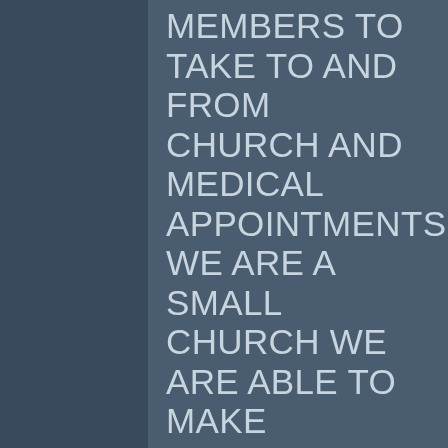MEMBERS TO TAKE TO AND FROM CHURCH AND MEDICAL APPOINTMENTS. WE ARE A SMALL CHURCH WE ARE ABLE TO MAKE PAYMENTS BUT UNABLE TO PAY CASH FOR BUS OR VAN. IF SOMEONE IS ABLE TO DONATE A BUS OR VAN WE CAN GIVE YOU THE PAPERWORK YOU NEED FOR A TAX